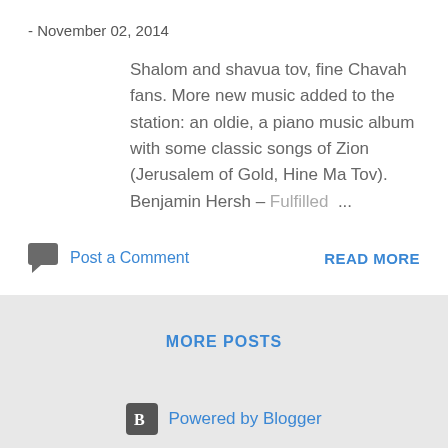- November 02, 2014
Shalom and shavua tov, fine Chavah fans. More new music added to the station: an oldie, a piano music album with some classic songs of Zion (Jerusalem of Gold, Hine Ma Tov). Benjamin Hersh – Fulfilled ...
Post a Comment
READ MORE
MORE POSTS
[Figure (logo): Blogger logo icon - white letter B on dark gray rounded square background]
Powered by Blogger
Theme images by Michael Elkan